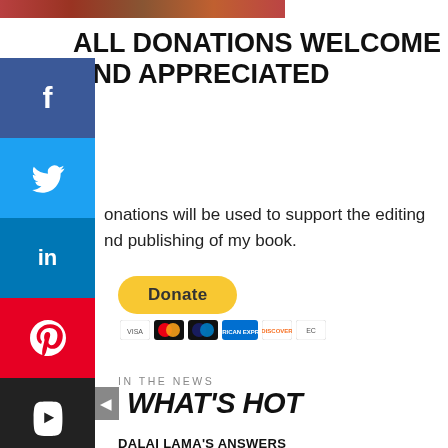[Figure (screenshot): Cropped top image banner strip in orange/red tones]
ALL DONATIONS WELCOME AND APPRECIATED
[Figure (infographic): Social media sidebar with Facebook, Twitter, LinkedIn, Pinterest, YouTube buttons]
Donations will be used to support the editing and publishing of my book.
[Figure (infographic): PayPal Donate button with credit card icons below (Mastercard, Maestro, American Express, Discover, etc.)]
IN THE NEWS
WHAT'S HOT
DALAI LAMA'S ANSWERS
5 YEARS AGO